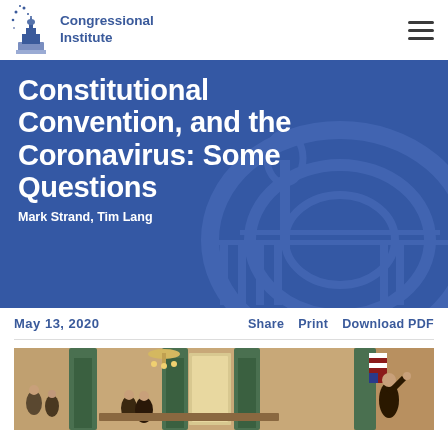Congressional Institute
Constitutional Convention, and the Coronavirus: Some Questions
Mark Strand, Tim Lang
May 13, 2020   Share   Print   Download PDF
[Figure (photo): Historical painting of the signing of the Constitution, showing figures in a formal hall with chandeliers, green draped windows, and an American flag in the background.]